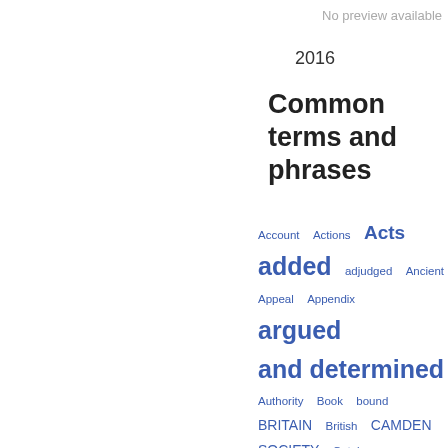No preview available
2016
Common terms and phrases
Account  Actions  Acts  added  adjudged  Ancient  Appeal  Appendix  argued and determined  Authority  Book  bound  BRITAIN  British  CAMDEN SOCIETY  Catalogue  Chamber  Charles  Chronicle  Civil  Collection  Common Law  Common Pleas  concerning  containing  Council  County  Court of Chancery  Court of King's  Crown